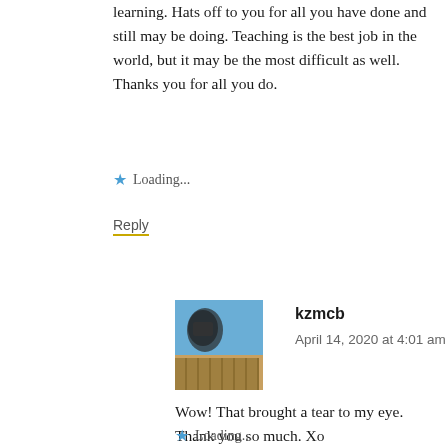learning. Hats off to you for all you have done and still may be doing. Teaching is the best job in the world, but it may be the most difficult as well. Thanks you for all you do.
★ Loading...
Reply
[Figure (photo): Avatar photo of commenter kzmcb showing a person photographing a coastal scene with a fence and blue sky]
kzmcb
April 14, 2020 at 4:01 am
Wow! That brought a tear to my eye. Thank you so much. Xo
★ Loading...